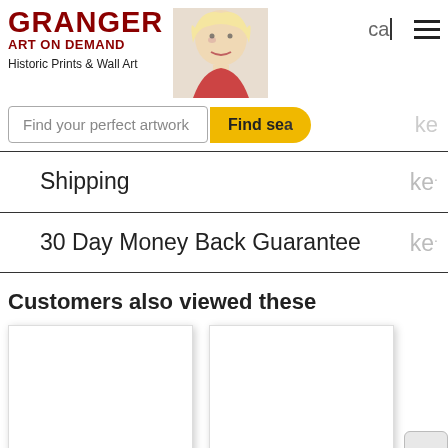[Figure (logo): Granger Art on Demand logo with red text and a photo of Marilyn Monroe]
Historic Prints & Wall Art
Find your perfect artwork
Find search
Shipping
30 Day Money Back Guarantee
Customers also viewed these
[Figure (photo): Product card 1 - blank white product image]
[Figure (photo): Product card 2 - blank white product image]